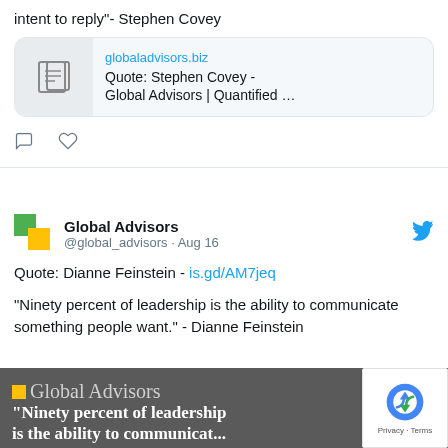intent to reply"- Stephen Covey
[Figure (screenshot): Link card showing globaladvisors.biz with document icon and title 'Quote: Stephen Covey - Global Advisors | Quantified ...']
[Figure (other): Tweet action icons: comment and like]
Global Advisors @global_advisors · Aug 16
Quote: Dianne Feinstein - is.gd/AM7jeq
"Ninety percent of leadership is the ability to communicate something people want." - Dianne Feinstein
[Figure (screenshot): Global Advisors branded image with dark gray background showing text '"Ninety percent of leadership is the ability to...' with Global Advisors logo and reCAPTCHA badge overlay]